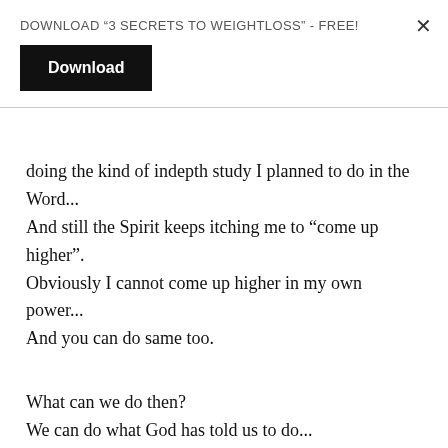DOWNLOAD “3 SECRETS TO WEIGHTLOSS” - FREE!
Download
doing the kind of indepth study I planned to do in the Word...
And still the Spirit keeps itching me to “come up higher”.
Obviously I cannot come up higher in my own power...
And you can do same too.
What can we do then?
We can do what God has told us to do...
RELY ON HIM.
This command to come up higher comes